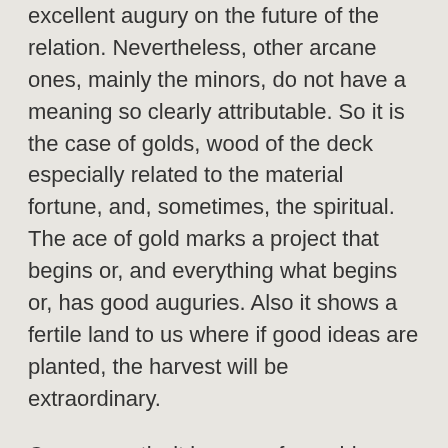excellent augury on the future of the relation. Nevertheless, other arcane ones, mainly the minors, do not have a meaning so clearly attributable. So it is the case of golds, wood of the deck especially related to the material fortune, and, sometimes, the spiritual. The ace of gold marks a project that begins or, and everything what begins or, has good auguries. Also it shows a fertile land to us where if good ideas are planted, the harvest will be extraordinary.
Consequently, it is a very favorable letter for the enamored ones. The three of gold show a peculiar message to us: who works arduously, she will receive his prize. In the case of a relation, the message is unequivocal: perhaps it is necessary to work a little in that relation more, to put more if so that the things are as the consulting one wishes. The nine of gold are the letter of the perfection. It indicates to us,